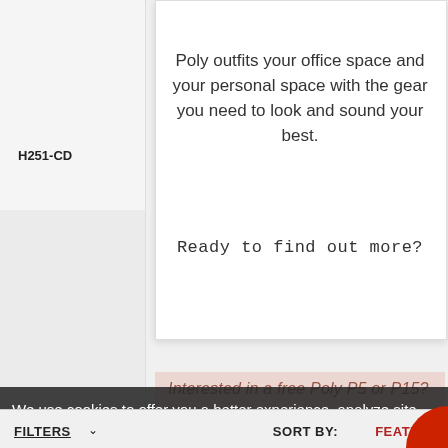H251-CD
Poly outfits your office space and your personal space with the gear you need to look and sound your best.
Ready to find out more?
Interested in a free Poly P5 or P15?
Want to empower your hybrid workforce?
We use cookies to offer you a better experience, analyze site traffic, and serve targeted advertisements. By continuing to use this website, you consent to the use of cookies in accordance with our Cookie Policy.
I'd like to contact a representative
ACCEPT
MANAGE CHOICES
FILTERS
SORT BY:
FEATU